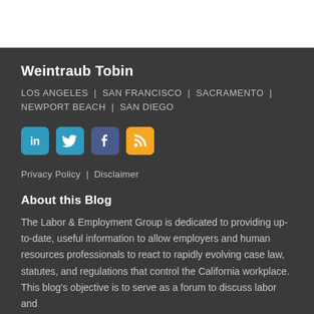Weintraub Tobin
LOS ANGELES  |  SAN FRANCISCO  |  SACRAMENTO  |  NEWPORT BEACH  |  SAN DIEGO
[Figure (illustration): Four social media icon buttons: LinkedIn (blue), Twitter (blue), Facebook (dark blue/purple), RSS (orange)]
Privacy Policy  |  Disclaimer
About this Blog
The Labor & Employment Group is dedicated to providing up-to-date, useful information to allow employers and human resources professionals to react to rapidly evolving case law, statutes, and regulations that control the California workplace. This blog's objective is to serve as a forum to discuss labor and